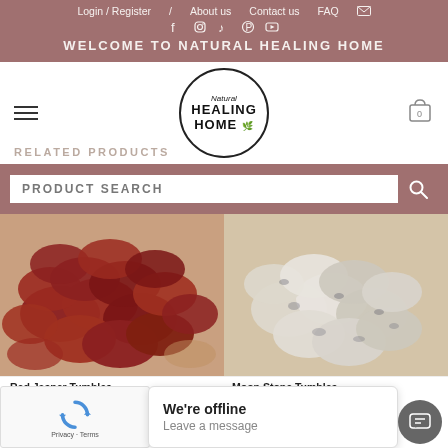Login / Register   About us   Contact us   FAQ
[Figure (screenshot): Social media icons: Facebook, Instagram, TikTok, Pinterest, YouTube]
WELCOME TO NATURAL HEALING HOME
[Figure (logo): Natural Healing Home circular logo with text]
RELATED PRODUCTS
PRODUCT SEARCH
[Figure (photo): Red Jasper tumbled stones, polished reddish-brown stones piled together]
[Figure (photo): Moon Stone tumbled stones, white/cream colored stones with dark spots piled together]
Red Jasper Tumbles
CRYSTALS
AED 35.00
Moon Stone Tumbles
AED 40.00
We're offline
Leave a message